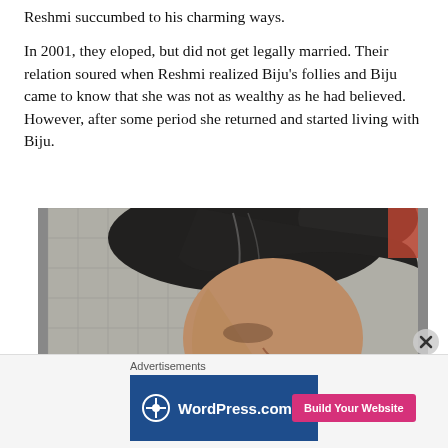Reshmi succumbed to his charming ways.

In 2001, they eloped, but did not get legally married. Their relation soured when Reshmi realized Biju's follies and Biju came to know that she was not as wealthy as he had believed. However, after some period she returned and started living with Biju.
[Figure (photo): A woman with dark hair looking downward, photographed from above/side, with a tiled wall background and wearing a purple/striped garment.]
Advertisements
[Figure (other): WordPress.com advertisement banner with dark blue background, WordPress logo on the left, and a pink 'Build Your Website' button on the right.]